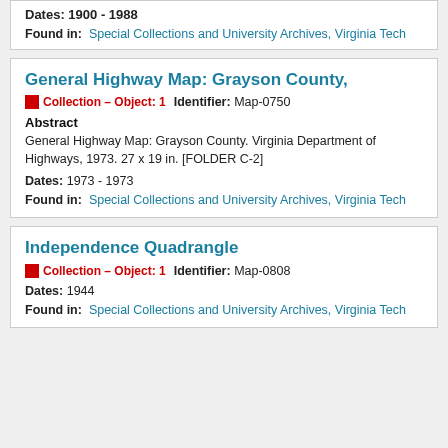Dates: 1900 - 1988
Found in: Special Collections and University Archives, Virginia Tech
General Highway Map: Grayson County,
Collection – Object: 1   Identifier: Map-0750
Abstract
General Highway Map: Grayson County. Virginia Department of Highways, 1973. 27 x 19 in. [FOLDER C-2]
Dates: 1973 - 1973
Found in: Special Collections and University Archives, Virginia Tech
Independence Quadrangle
Collection – Object: 1   Identifier: Map-0808
Dates: 1944
Found in: Special Collections and University Archives, Virginia Tech